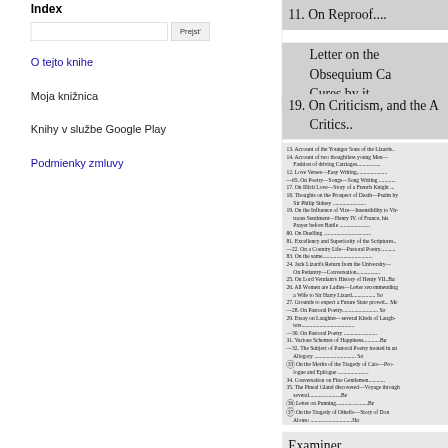Index
Prejsť (search button)
O tejto knihe
Moja knižnica
Knihy v službe Google Play
Podmienky zmluvy
11. On Reproof....
Letter on the Obsequium Ca
Cures by it.......
19. On Criticism, and the A
Critics..
13. Account of the Younger Sons of the Lizards..
14. Account of two thoughtless young Men—Fashion of driving Carriages...............
12. Love Verses—Easy Writing.....................
—65. On Poetry—Songs—Song Writing ...........
17. On Illicit Love—Story of a French Knight ...
18. Thoughts on the Prospect of Death—Psalm by Sir Philip Sidney .........................
19. On the Influence of Vice—Insensibility to Virtuous Sentiment—Henry IV. of France, his Prayer before Battle ......................
80. On Duelling ..................................
81. Excellency and Superiority of the Scriptures..
—22. On a Country Life—Pastoral Poetry...........
83. On the same....................................
24. Jack Lizard's Return from the University—On Pedantry—Conversation................
25. On Lord Verulam's History of Henry VII..B
26. All Women are Ladies—Letter recommending a Wife to Sir Harry Lizard................. S
27. Grounds to expect a Future State proved... M
—28. On Pastoral Poetry.......................... S
29. Essay on Laughter—several Kinds of Laughters.....................................
—30. On Pastoral Poetry ........................
31. Various Schemes of Happiness............B
—32. The Subject of Pastoral Poetry treated in an Allegory .............................. S
33. On the Merits of the Tragedy of Cato—Prologue and Epilogue .......................
34. Conversation on Fine Gentlemen............
35. The Pineal Gland discovered—Voyage through several.......................B
36. Letter on Punning.......................B
37. On the Tragedy of Othello—Story of Don Alonso ..............................Ha
Examiner...
Pope. 81. Soliloquy of an